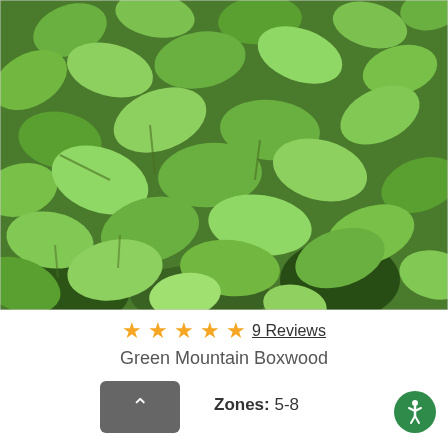[Figure (photo): Close-up photograph of Green Mountain Boxwood plant showing dense bright green small oval leaves on branches]
★★★★★ 9 Reviews
Green Mountain Boxwood
Zones: 5-8